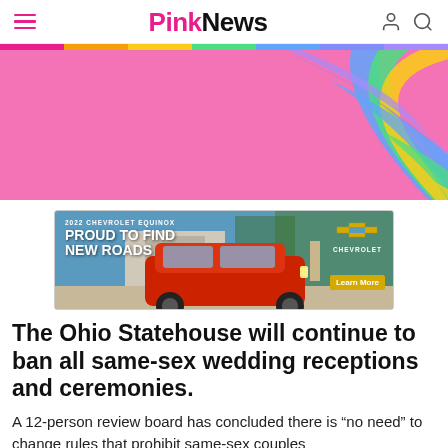PinkNews
[Figure (illustration): Rainbow-colored hero banner with pink background and colorful arc stripes]
[Figure (photo): 2022 Chevrolet Equinox advertisement. Text reads: '2022 CHEVROLET EQUINOX PROUD TO FIND NEW ROADS' with Chevrolet logo and 'Learn More' button. Red SUV shown in a driveway setting.]
The Ohio Statehouse will continue to ban all same-sex wedding receptions and ceremonies.
A 12-person review board has concluded there is "no need" to change rules that prohibit same-sex couples